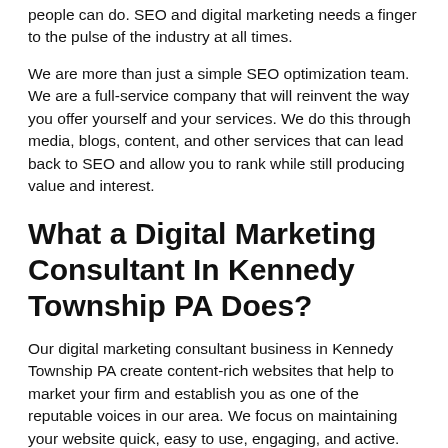people can do. SEO and digital marketing needs a finger to the pulse of the industry at all times.
We are more than just a simple SEO optimization team. We are a full-service company that will reinvent the way you offer yourself and your services. We do this through media, blogs, content, and other services that can lead back to SEO and allow you to rank while still producing value and interest.
What a Digital Marketing Consultant In Kennedy Township PA Does?
Our digital marketing consultant business in Kennedy Township PA create content-rich websites that help to market your firm and establish you as one of the reputable voices in our area. We focus on maintaining your website quick, easy to use, engaging, and active. We carefully put together SEO best practices with great writing, excellent web design, and a bit of something special to set you apart.
Excellent Digital Marketing Consultant In Kennedy Township PA